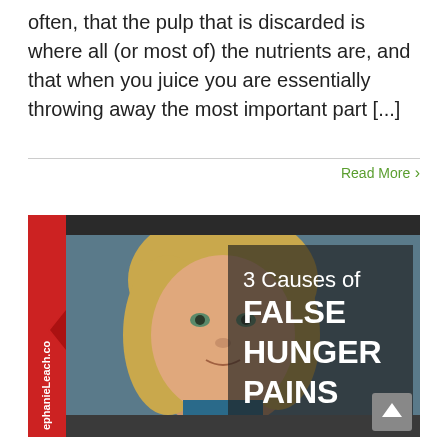often, that the pulp that is discarded is where all (or most of) the nutrients are, and that when you juice you are essentially throwing away the most important part [...]
Read More >
[Figure (photo): Thumbnail image of a blonde woman with text overlay reading '3 Causes of FALSE HUNGER PAINS' on a dark background, with a red banner on the left side showing 'ephanieLeach.co' rotated vertically.]